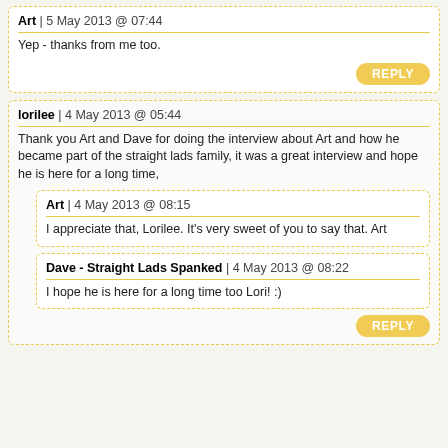Art | 5 May 2013 @ 07:44
Yep - thanks from me too.
lorilee | 4 May 2013 @ 05:44
Thank you Art and Dave for doing the interview about Art and how he became part of the straight lads family, it was a great interview and hope he is here for a long time,
Art | 4 May 2013 @ 08:15
I appreciate that, Lorilee. It's very sweet of you to say that. Art
Dave - Straight Lads Spanked | 4 May 2013 @ 08:22
I hope he is here for a long time too Lori! :)